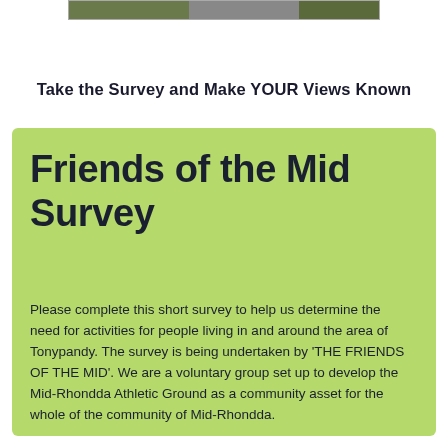[Figure (photo): Partial image strip at top of page showing outdoor/sports ground photographs]
Take the Survey and Make YOUR Views Known
Friends of the Mid Survey
Please complete this short survey to help us determine the need for activities for people living in and around the area of Tonypandy. The survey is being undertaken by 'THE FRIENDS OF THE MID'. We are a voluntary group set up to develop the Mid-Rhondda Athletic Ground as a community asset for the whole of the community of Mid-Rhondda.